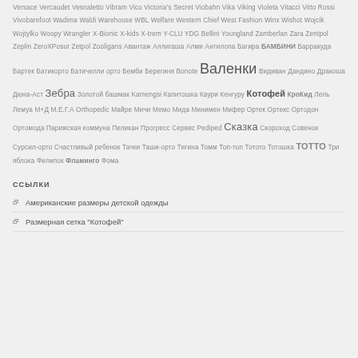Versace Vercaudet Vesnaletto Vibram Vico Victoria's Secret Viobahn Vika Viking Violeta Vitacci Vitto Rossi Vivobarefoot Wadima Waldi Warehouse WBL Welfare Western Chief West Fashion Winx Wishot Wojcik Wojtylko Woopy Wrangler X-Bionic X-kids X-trem Y-CLU YDG Bellini Youngland Zamberlan Zara Zentpol Zeplin ZeroXPosur Zetpol Zooligans Авантаж Аллигаша Алми Антилопа Багира БАМБИНИ Барракуда Бартек Батикорто Батичелли орто Бемби Берегиня Bonote Валенки Видиван Дандино Дракоша Дюна-Аст Зебра Золотой башмак Kamengsi Капитошка Каури Кенгуру Котофей КроКид Лель Лемуа М+Д М.Е.Г.А Orthopedic Майре Мичи Мемо Мида Минимен Мифер Ортек Ортекс Ортодон Ортомода Парижская коммуна Пеликан Прогресс Сервис Pediped Сказка Скороход Совенок Сурсил-орто Счастливый ребенок Тачки Таши-орто Тигина Томм Топ-топ Тотото Тотошка ТОТТО Три яблока Филипок Фламинго Фома
ССЫЛКИ
Американские размеры детской одежды
Размерная сетка "Котофей"